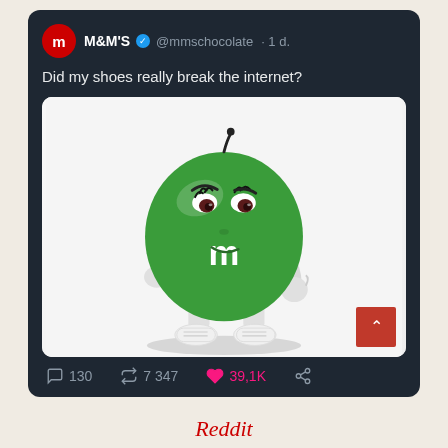[Figure (screenshot): Screenshot of a tweet from M&M's official Twitter account (@mmschocolate), verified, posted 1 day ago. The tweet text reads 'Did my shoes really break the internet?' with an image of the green M&M character posing with hand on hip, wearing white sneakers, looking skeptical. Below the image are engagement stats: 130 comments, 7 347 retweets, 39.1K likes.]
Reddit